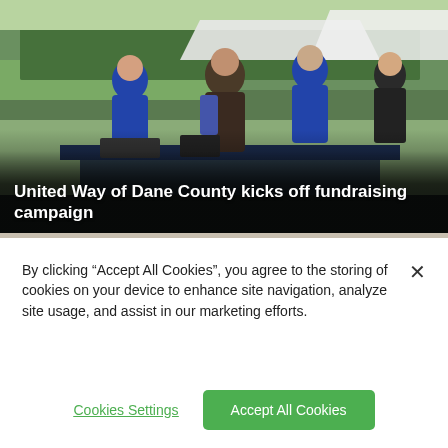[Figure (photo): Outdoor event photo showing volunteers in blue shirts at a table booth with a stadium in the background. People are standing and interacting at the registration/information table.]
United Way of Dane County kicks off fundraising campaign
[Figure (photo): Close-up photo of bicycles lying on pavement/ground.]
By clicking “Accept All Cookies”, you agree to the storing of cookies on your device to enhance site navigation, analyze site usage, and assist in our marketing efforts.